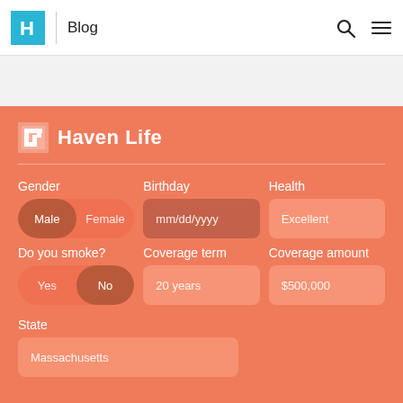Haven Life | Blog
[Figure (logo): Haven Life logo with teal/cyan bracket icon and white text 'Haven Life' on orange background]
Gender
Male | Female
Birthday
mm/dd/yyyy
Health
Excellent
Do you smoke?
Yes | No
Coverage term
20 years
Coverage amount
$500,000
State
Massachusetts